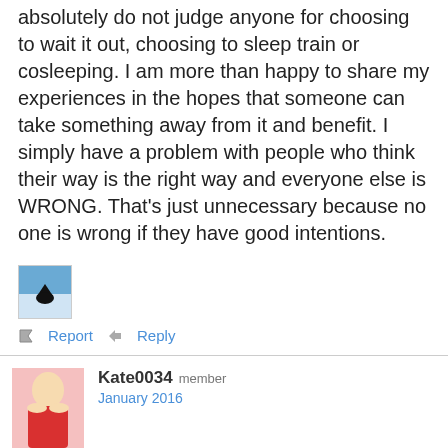absolutely do not judge anyone for choosing to wait it out, choosing to sleep train or cosleeping. I am more than happy to share my experiences in the hopes that someone can take something away from it and benefit. I simply have a problem with people who think their way is the right way and everyone else is WRONG. That's just unnecessary because no one is wrong if they have good intentions.
[Figure (photo): Small avatar image with blue/white background and black heart shape]
Report  Reply
Kate0034 member
January 2016
atcwag said:
My EBF son started STTN on his own @ 4 weeks. He slept in his bassinet beside our bed until he was 9 months. Transitioning to crib was a non-issue. He was rocked/nursed